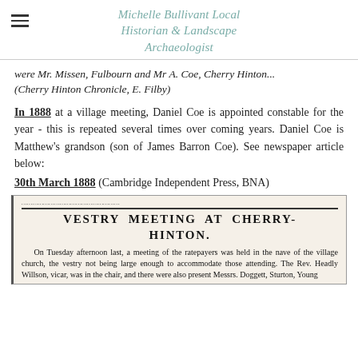Michelle Bullivant Local Historian & Landscape Archaeologist
were Mr. Missen, Fulbourn and Mr A. Coe, Cherry Hinton... (Cherry Hinton Chronicle, E. Filby)
In 1888 at a village meeting, Daniel Coe is appointed constable for the year - this is repeated several times over coming years. Daniel Coe is Matthew's grandson (son of James Barron Coe). See newspaper article below:
30th March 1888 (Cambridge Independent Press, BNA)
[Figure (photo): Newspaper clipping from Cambridge Independent Press. Headline: VESTRY MEETING AT CHERRY-HINTON. Body text begins: On Tuesday afternoon last, a meeting of the ratepayers was held in the nave of the village church, the vestry not being large enough to accommodate those attending. The Rev. Headly Willson, vicar, was in the chair, and there were also present Messrs. Doggett, Sturton, Young...]